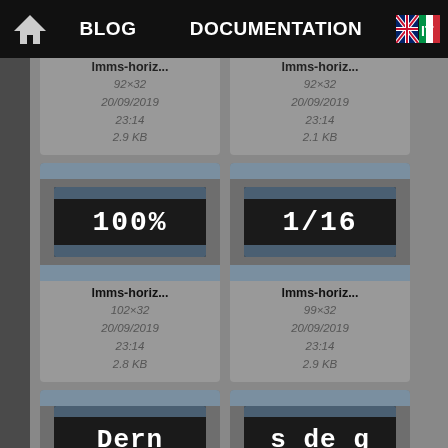BLOG   DOCUMENTATION
[Figure (screenshot): File browser grid showing image thumbnails with lmms-horiz... filenames, sizes 92x32, dates 20/09/2019 23:14, sizes 2.9 KB and 2.1 KB (partially visible top row)]
[Figure (screenshot): Thumbnail showing '100%' text on dark LED-style display, lmms-horiz... 102x32 20/09/2019 23:14 2.8 KB]
[Figure (screenshot): Thumbnail showing '1/16' text on dark LED-style display, lmms-horiz... 99x32 20/09/2019 23:14 2.9 KB]
[Figure (screenshot): Thumbnail showing 'Dern' text on dark display, lmms-horiz... (partially visible bottom row)]
[Figure (screenshot): Thumbnail showing 's de g' text on dark display, lmms-horiz... (partially visible bottom row)]